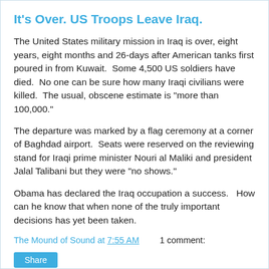It's Over. US Troops Leave Iraq.
The United States military mission in Iraq is over, eight years, eight months and 26-days after American tanks first poured in from Kuwait.  Some 4,500 US soldiers have died.  No one can be sure how many Iraqi civilians were killed.  The usual, obscene estimate is "more than 100,000."
The departure was marked by a flag ceremony at a corner of Baghdad airport.  Seats were reserved on the reviewing stand for Iraqi prime minister Nouri al Maliki and president Jalal Talibani but they were "no shows."
Obama has declared the Iraq occupation a success.   How can he know that when none of the truly important decisions has yet been taken.
The Mound of Sound at 7:55 AM    1 comment: